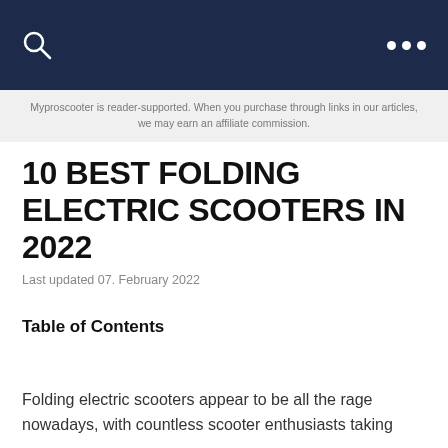Myproscooter is reader-supported. When you purchase through links in our articles, we may earn an affiliate commission.
10 BEST FOLDING ELECTRIC SCOOTERS IN 2022
Last updated 07. February 2022
Table of Contents
Folding electric scooters appear to be all the rage nowadays, with countless scooter enthusiasts taking